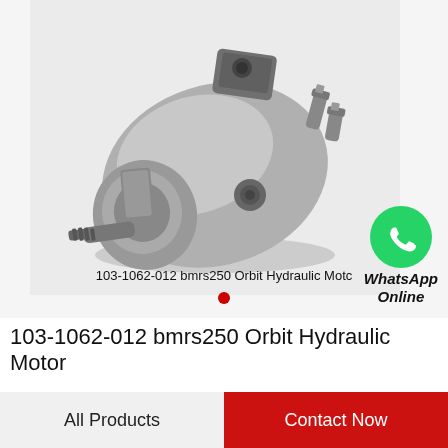[Figure (photo): Photograph of a 103-1062-012 bmrs250 Orbit Hydraulic Motor — a grey metallic hydraulic motor with splined shaft, flange mount, and hydraulic fittings/connectors on top, shown at an angle against a light grey background.]
103-1062-012 bmrs250 Orbit Hydraulic Motc
[Figure (logo): WhatsApp green circular icon with white phone handset, with text 'WhatsApp Online' below in bold italic]
103-1062-012 bmrs250 Orbit Hydraulic Motor
All Products
Contact Now